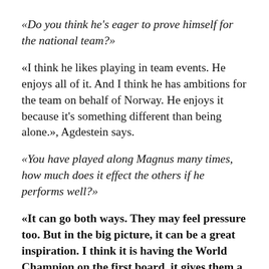«Do you think he's eager to prove himself for the national team?»
«I think he likes playing in team events. He enjoys all of it. And I think he has ambitions for the team on behalf of Norway. He enjoys it because it's something different than being alone.», Agdestein says.
«You have played along Magnus many times, how much does it effect the others if he performs well?»
«It can go both ways. They may feel pressure too. But in the big picture, it can be a great inspiration. I think it is having the World Champion on the first board, it gives them a chance to play against the big guys. Magnus can beat anyone, so it means